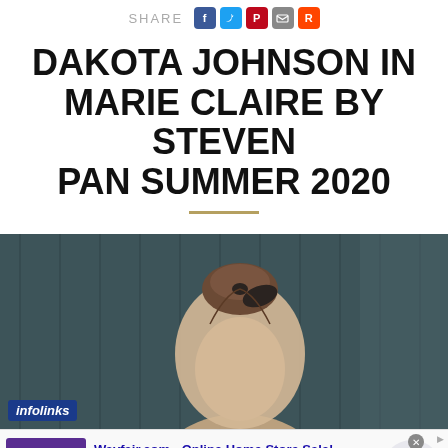SHARE [social icons: Facebook, Twitter, Pinterest, Email, Reddit]
DAKOTA JOHNSON IN MARIE CLAIRE BY STEVEN PAN SUMMER 2020
[Figure (photo): Cropped photo showing the back of a woman's head with hair pulled up in a bun with a black bow/scrunchie, set against a dark teal/grey background. An 'infolinks' badge appears in the lower left corner.]
[Figure (screenshot): Advertisement for Wayfair.com - Online Home Store Sale! with thumbnail showing bedroom furniture and purple branded image, text reads: 'Shop for A Zillion Things Home across all styles at Wayfair! www.wayfair.com'. Has a blue circular arrow button and close X button.]